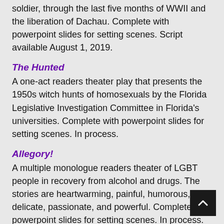soldier, through the last five months of WWII and the liberation of Dachau. Complete with powerpoint slides for setting scenes. Script available August 1, 2019.
The Hunted
A one-act readers theater play that presents the 1950s witch hunts of homosexuals by the Florida Legislative Investigation Committee in Florida's universities. Complete with powerpoint slides for setting scenes. In process.
Allegory!
A multiple monologue readers theater of LGBT people in recovery from alcohol and drugs. The stories are heartwarming, painful, humorous, delicate, passionate, and powerful. Complete with powerpoint slides for setting scenes. In process.